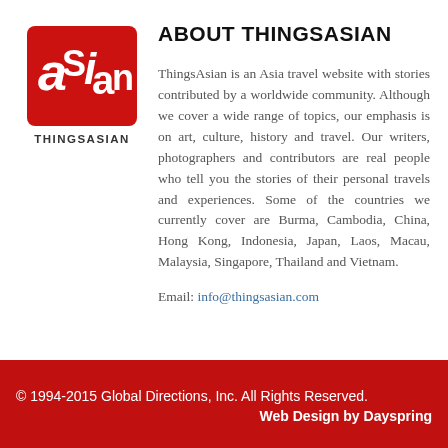[Figure (logo): ThingsAsian red logo with stylized Asian text on a red rounded rectangle background, with THINGSASIAN text below]
ABOUT THINGSASIAN
ThingsAsian is an Asia travel website with stories contributed by a worldwide community. Although we cover a wide range of topics, our emphasis is on art, culture, history and travel. Our writers, photographers and contributors are real people who tell you the stories of their personal travels and experiences. Some of the countries we currently cover are Burma, Cambodia, China, Hong Kong, Indonesia, Japan, Laos, Macau, Malaysia, Singapore, Thailand and Vietnam.
Email: info@thingsasian.com
© 1994-2015 Global Directions, Inc. All Rights Reserved.
Web Design by Dayspring